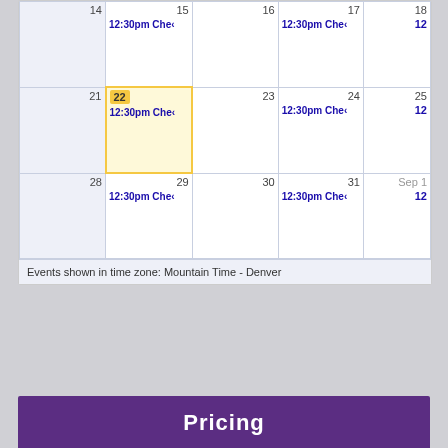[Figure (screenshot): Calendar view showing weeks of Aug 14-18, Aug 21-25 (with Aug 22 highlighted as today), and Aug 28-Sep 1. Events shown: 12:30pm Che... on Mon/Wed each week, and a side number '12' on Saturday column. Footer says 'Events shown in time zone: Mountain Time - Denver'.]
Pricing